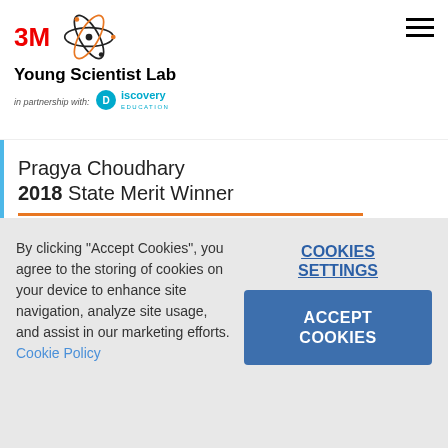3M Young Scientist Lab in partnership with Discovery Education
Pragya Choudhary
2018 State Merit Winner
8th grade
Michigan
By clicking "Accept Cookies", you agree to the storing of cookies on your device to enhance site navigation, analyze site usage, and assist in our marketing efforts. Cookie Policy
COOKIES SETTINGS
ACCEPT COOKIES